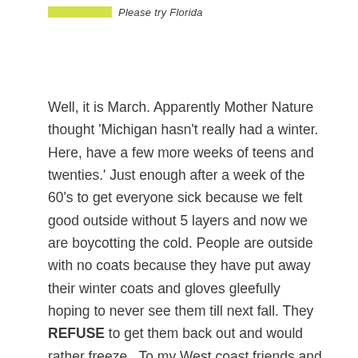Please try Florida
Well, it is March. Apparently Mother Nature thought 'Michigan hasn't really had a winter. Here, have a few more weeks of teens and twenties.' Just enough after a week of the 60's to get everyone sick because we felt good outside without 5 layers and now we are boycotting the cold. People are outside with no coats because they have put away their winter coats and gloves gleefully hoping to never see them till next fall. They REFUSE to get them back out and would rather freeze.  To my West coast friends and friends down south, this is why you will see us 'snow birds' without coats when it is in the 50's. It is a heat wave when you are 20-30 degrees warmer then where you live. To my